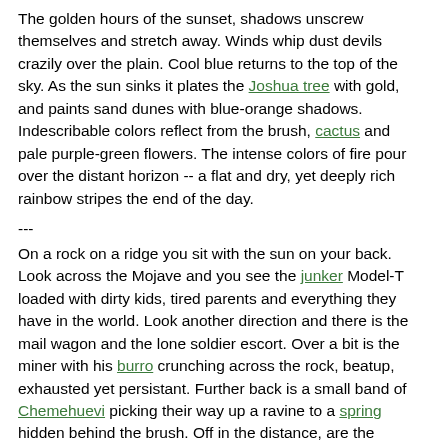The golden hours of the sunset, shadows unscrew themselves and stretch away. Winds whip dust devils crazily over the plain. Cool blue returns to the top of the sky. As the sun sinks it plates the Joshua tree with gold, and paints sand dunes with blue-orange shadows. Indescribable colors reflect from the brush, cactus and pale purple-green flowers. The intense colors of fire pour over the distant horizon -- a flat and dry, yet deeply rich rainbow stripes the end of the day.
---
On a rock on a ridge you sit with the sun on your back. Look across the Mojave and you see the junker Model-T loaded with dirty kids, tired parents and everything they have in the world. Look another direction and there is the mail wagon and the lone soldier escort. Over a bit is the miner with his burro crunching across the rock, beatup, exhausted yet persistant. Further back is a small band of Chemehuevi picking their way up a ravine to a spring hidden behind the brush. Off in the distance, are the ancient ones, chipping at rock with a piece of bone for their hunting spears. All this from a rock on a ridge, over-looking the desert void.
---